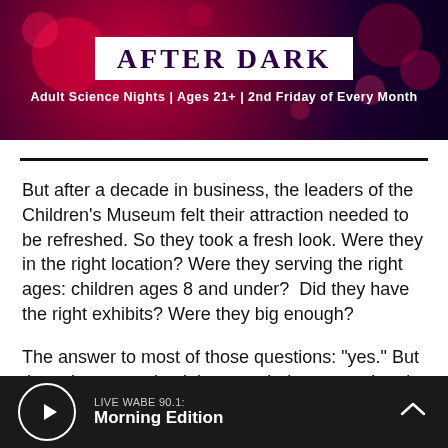[Figure (illustration): Banner graphic with dark bokeh background showing 'AFTER DARK' title on white background, with subtitle 'Adult Science Nights | Ages 21+ | 2nd Friday of Every Month' in white text]
But after a decade in business, the leaders of the Children's Museum felt their attraction needed to be refreshed. So they took a fresh look. Were they in the right location? Were they serving the right ages: children ages 8 and under?  Did they have the right exhibits? Were they big enough?
The answer to most of those questions: “yes.” But they also recognized they needed to expand and
LIVE WABE 90.1: Morning Edition